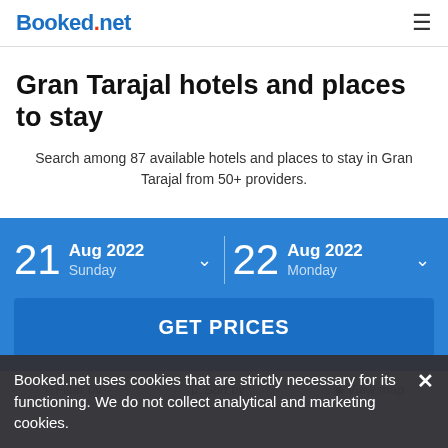Booked.net
Gran Tarajal hotels and places to stay
Search among 87 available hotels and places to stay in Gran Tarajal from 50+ providers.
21 Aug 2022 Sunday — 22 Aug 2022 Monday
GET PRICES
Booked.net uses cookies that are strictly necessary for its functioning. We do not collect analytical and marketing cookies.